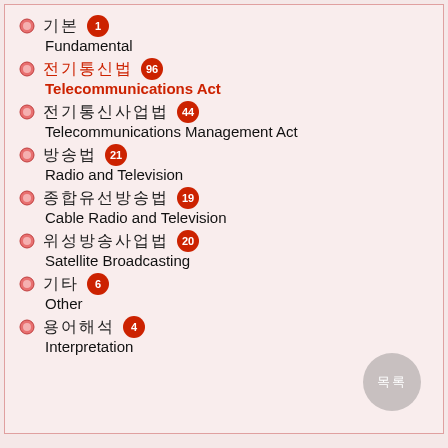기본 1 / Fundamental
전기통신법 96 / Telecommunications Act
전기통신사업법 44 / Telecommunications Management Act
방송법 21 / Radio and Television
종합유선방송법 19 / Cable Radio and Television
위성방송사업법 20 / Satellite Broadcasting
기타 6 / Other
용어해석 4 / Interpretation